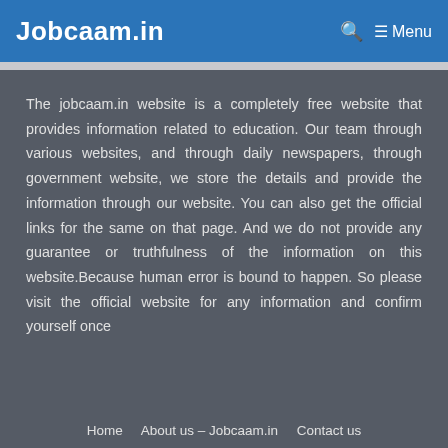Jobcaam.in  🔍  ≡ Menu
The jobcaam.in website is a completely free website that provides information related to education. Our team through various websites, and through daily newspapers, through government website, we store the details and provide the information through our website. You can also get the official links for the same on that page. And we do not provide any guarantee or truthfulness of the information on this website.Because human error is bound to happen. So please visit the official website for any information and confirm yourself once
Home   About us – Jobcaam.in   Contact us